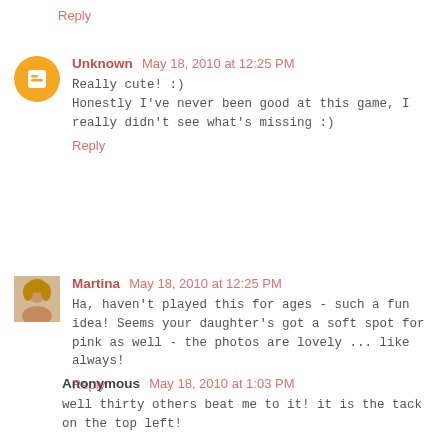Reply
Unknown May 18, 2010 at 12:25 PM
Really cute! :)
Honestly I've never been good at this game, I really didn't see what's missing :)
Reply
Martina May 18, 2010 at 12:25 PM
Ha, haven't played this for ages - such a fun idea! Seems your daughter's got a soft spot for pink as well - the photos are lovely ... like always!
Reply
Anonymous May 18, 2010 at 1:03 PM
well thirty others beat me to it! it is the tack on the top left!